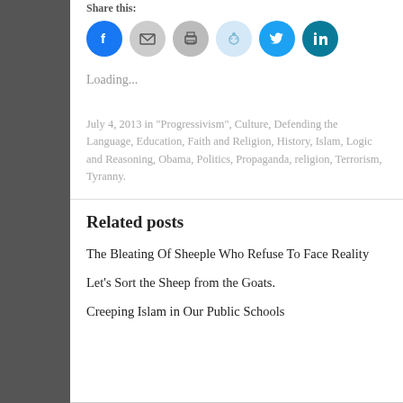Share this:
[Figure (other): Social share icons: Facebook (blue), Email (gray), Print (gray), Reddit (light blue), Twitter (blue), LinkedIn (teal)]
Loading...
July 4, 2013 in "Progressivism", Culture, Defending the Language, Education, Faith and Religion, History, Islam, Logic and Reasoning, Obama, Politics, Propaganda, religion, Terrorism, Tyranny.
Related posts
The Bleating Of Sheeple Who Refuse To Face Reality
Let's Sort the Sheep from the Goats.
Creeping Islam in Our Public Schools